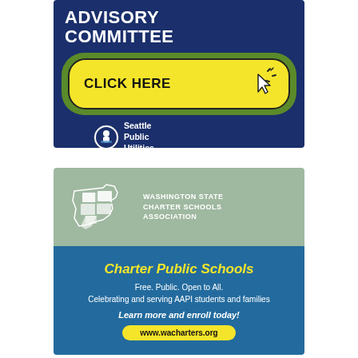[Figure (infographic): Seattle Public Utilities advisory committee advertisement with dark blue background, green rounded box containing a yellow CLICK HERE button with cursor icon, and Seattle Public Utilities logo with circular icon at bottom]
[Figure (infographic): Washington State Charter Schools Association advertisement. Top half has a sage/grey-green background with Washington state outline logo and association name. Bottom half has a blue background with yellow italic text 'Charter Public Schools', white text 'Free. Public. Open to All. Celebrating and serving AAPI students and families', bold italic 'Learn more and enroll today!', and yellow pill-shaped button with www.wacharters.org]